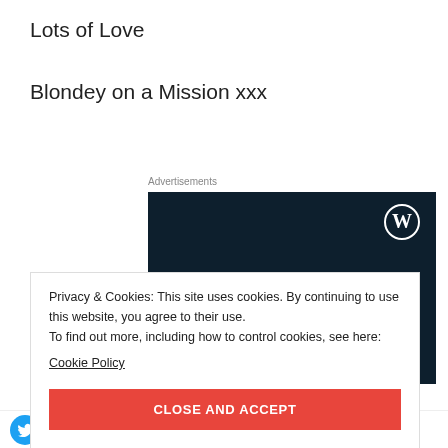Lots of Love
Blondey on a Mission xxx
Advertisements
[Figure (other): WordPress advertisement banner with dark navy background, WordPress logo (W in circle) top right, text 'Opinions. We all have them!' in white serif font]
Privacy & Cookies: This site uses cookies. By continuing to use this website, you agree to their use.
To find out more, including how to control cookies, see here:
Cookie Policy
CLOSE AND ACCEPT
[Figure (other): Social sharing icons row: Twitter (blue), Facebook (blue), Print (grey), Pinterest (red), WhatsApp (green), Email (grey)]